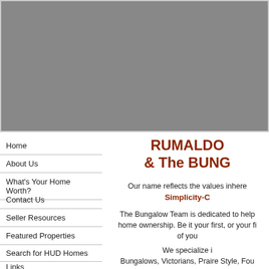[Figure (photo): Gray placeholder banner image at top of page]
Home
About Us
What's Your Home Worth?
Contact Us
Seller Resources
Featured Properties
Search for HUD Homes
Links
Rumaldo Ulibarri
Phone: 303-452-3300
RUMALDO & The BUNG
Our name reflects the values inhere Simplicity-C
The Bungalow Team is dedicated to help home ownership. Be it your first, or your fi of you
We specialize i Bungalows, Victorians, Praire Style, Fou Atomic R